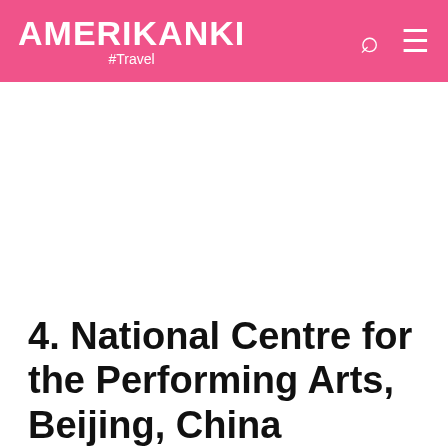AMERIKANKI #Travel
4. National Centre for the Performing Arts, Beijing, China